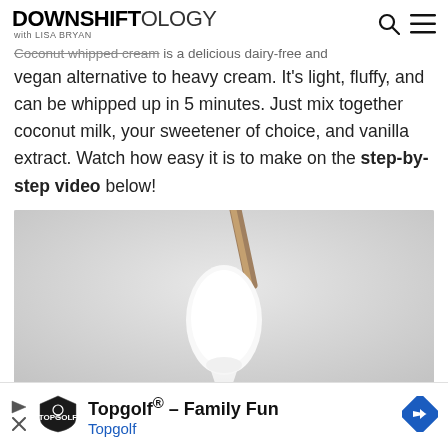DOWNSHIFTOLOGY with LISA BRYAN
Coconut whipped cream is a delicious dairy-free and vegan alternative to heavy cream. It's light, fluffy, and can be whipped up in 5 minutes. Just mix together coconut milk, your sweetener of choice, and vanilla extract. Watch how easy it is to make on the step-by-step video below!
[Figure (photo): A spoon with white whipped cream dripping off it against a light grey background]
Topgolf® - Family Fun Topgolf